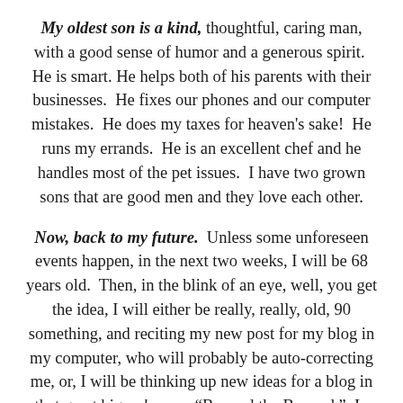My oldest son is a kind, thoughtful, caring man, with a good sense of humor and a generous spirit. He is smart. He helps both of his parents with their businesses. He fixes our phones and our computer mistakes. He does my taxes for heaven's sake! He runs my errands. He is an excellent chef and he handles most of the pet issues. I have two grown sons that are good men and they love each other.
Now, back to my future. Unless some unforeseen events happen, in the next two weeks, I will be 68 years old. Then, in the blink of an eye, well, you get the idea, I will either be really, really, old, 90 something, and reciting my new post for my blog in my computer, who will probably be auto-correcting me, or, I will be thinking up new ideas for a blog in that great big unknown. "Beyond the Beyond." In the meantime, I am going to go up to every young person I know and say to them, "Just wait, you will see, in the blink of an eye, you will be 40-odd-ish, then, almost